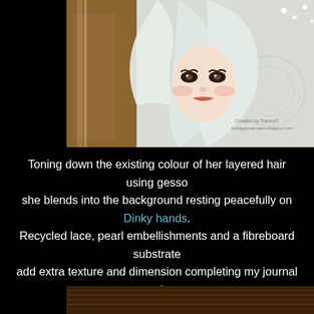[Figure (illustration): A painted artwork showing a stylized face of a woman with large dark eyes, rosy cheeks, and elaborate layered white/mint hair. Background has kraft paper texture on the left and off-white gesso on the right. Pearl embellishments visible. Watermark text reads 'Created by Tracey©' and 'hotdiggitystampers.blogspot.com'.]
Toning down the existing colour of her layered hair using gesso she blends into the background resting peacefully on Dinky hands. Recycled lace, pearl embellishments and a fibreboard substrate add extra texture and dimension completing my journal creation.
[Figure (photo): Bottom portion of a wood-grain textured surface, dark brown tones, partially visible at the bottom of the page.]